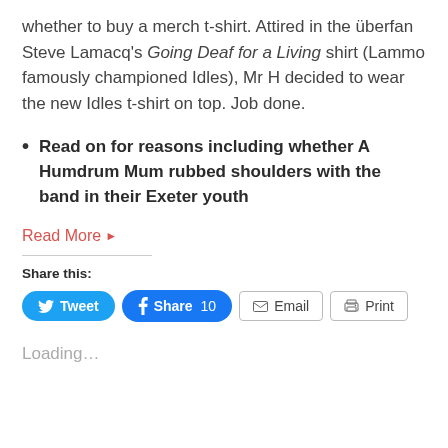whether to buy a merch t-shirt. Attired in the überfan Steve Lamacq's Going Deaf for a Living shirt (Lammo famously championed Idles), Mr H decided to wear the new Idles t-shirt on top. Job done.
Read on for reasons including whether A Humdrum Mum rubbed shoulders with the band in their Exeter youth
Read More ▶
Share this:
Tweet   Share 10   Email   Print
Loading...